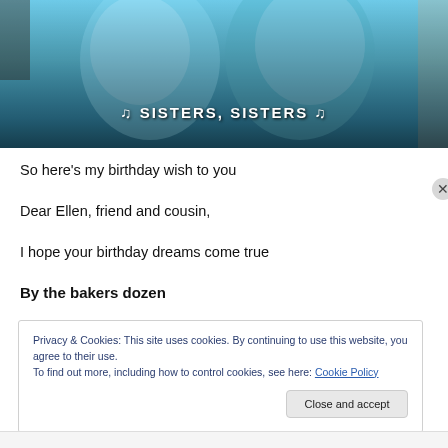[Figure (photo): Screenshot of a video showing two people dressed in fluffy blue costumes with text overlay reading '♪ SISTERS, SISTERS ♪']
So here's my birthday wish to you
Dear Ellen, friend and cousin,
I hope your birthday dreams come true
By the bakers dozen
Privacy & Cookies: This site uses cookies. By continuing to use this website, you agree to their use.
To find out more, including how to control cookies, see here: Cookie Policy